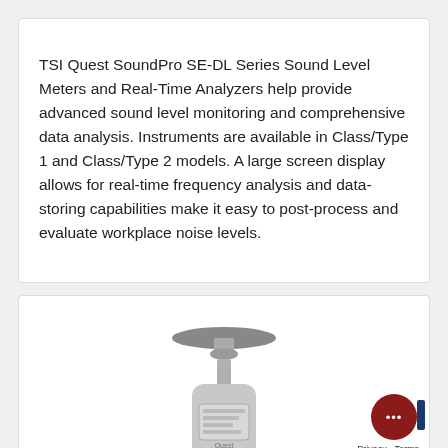TSI Quest SoundPro SE-DL Series Sound Level Meters and Real-Time Analyzers help provide advanced sound level monitoring and comprehensive data analysis. Instruments are available in Class/Type 1 and Class/Type 2 models. A large screen display allows for real-time frequency analysis and data-storing capabilities make it easy to post-process and evaluate workplace noise levels.
[Figure (photo): Photo of TSI Quest SoundPro sound level meter device, showing the microphone capsule at top and the device body with display screen, partially cropped at bottom]